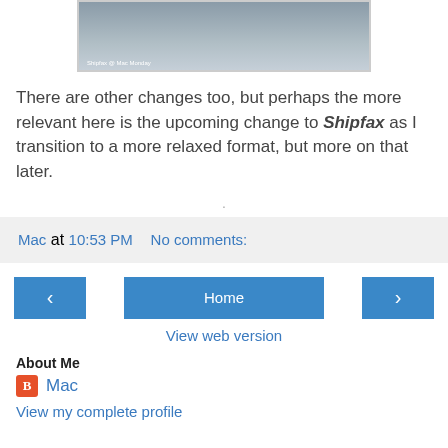[Figure (photo): Partially visible photo of a boat/ship on water with watermark text 'Shipfax @ Mac Monday']
There are other changes too, but perhaps the more relevant here is the upcoming change to Shipfax as I transition to a more relaxed format, but more on that later.
.
Mac at 10:53 PM   No comments:
< Home >
View web version
About Me
Mac
View my complete profile